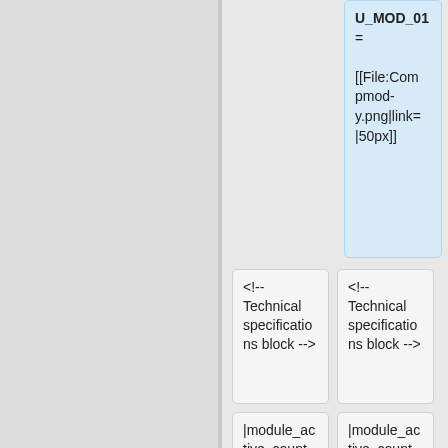U_MOD_01 = [[File:Compmod-y.png|link=|50px]]
<!-- Technical specifications block -->
<!-- Technical specifications block -->
|module_active_count = 4
|module_active_count = 4
Line 293:
Line 305:
|max_speed_mul_1_synLvl = 0
|max_speed_mul_1_synLvl = 0
<!-- Synergy unlocked bonus block -->
<!-- Synergy unlocked bonus block -->